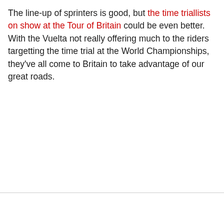The line-up of sprinters is good, but the time triallists on show at the Tour of Britain could be even better. With the Vuelta not really offering much to the riders targetting the time trial at the World Championships, they've all come to Britain to take advantage of our great roads.